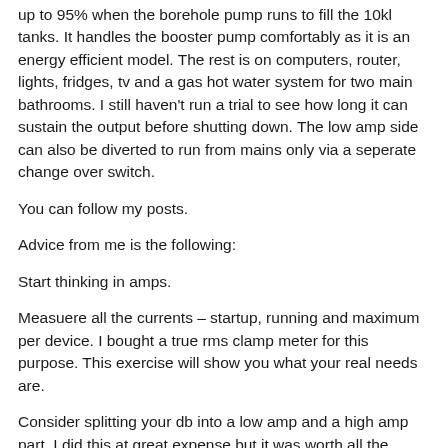up to 95% when the borehole pump runs to fill the 10kl tanks. It handles the booster pump comfortably as it is an energy efficient model. The rest is on computers, router, lights, fridges, tv and a gas hot water system for two main bathrooms. I still haven't run a trial to see how long it can sustain the output before shutting down. The low amp side can also be diverted to run from mains only via a seperate change over switch.
You can follow my posts.
Advice from me is the following:
Start thinking in amps.
Measuere all the currents – startup, running and maximum per device. I bought a true rms clamp meter for this purpose. This exercise will show you what your real needs are.
Consider splitting your db into a low amp and a high amp part. I did this at great expense but it was worth all the sweat and costs. It sorted out several issues I never even knew about as I have an old farm house. This also gave me the opportunity to modernise everything. Bear in mind that surfix wiring allows you to make really quick wiring changes inside your roof. This will also